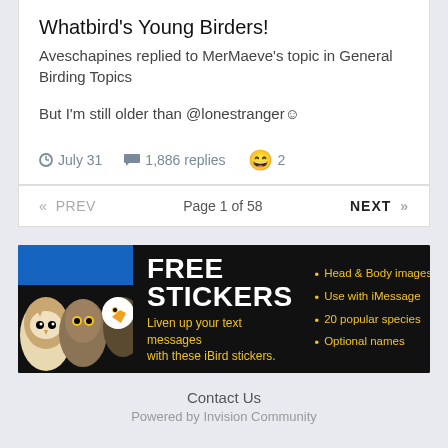Whatbird's Young Birders!
Aveschapines replied to MerMaeve's topic in General Birding Topics
But I'm still older than @lonestranger☺
July 31   1,886 replies   2
« PREV   Page 1 of 58   NEXT »
[Figure (infographic): iBird FREE STICKERS ad banner with owl and eagle illustrations on a dark background. Text: FREE STICKERS, Liven up your text messages with these iBird stickers. Bullet points: Head & Body images, Use with iMessage, 20 popular species, Optional names.]
Contact Us
Powered by Invision Community